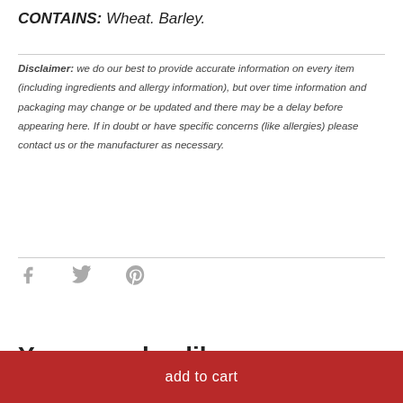CONTAINS: Wheat. Barley.
Disclaimer: we do our best to provide accurate information on every item (including ingredients and allergy information), but over time information and packaging may change or be updated and there may be a delay before appearing here. If in doubt or have specific concerns (like allergies) please contact us or the manufacturer as necessary.
[Figure (infographic): Social share icons: Facebook (f), Twitter (bird), Pinterest (P) in gray]
You may also like
add to cart